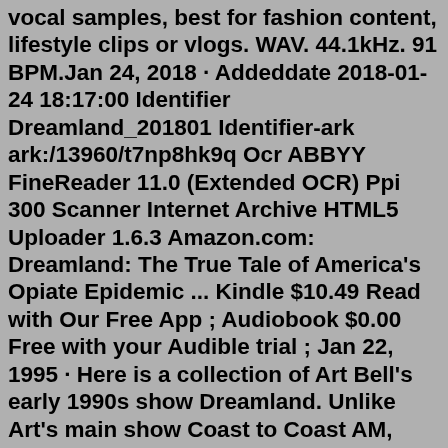vocal samples, best for fashion content, lifestyle clips or vlogs. WAV. 44.1kHz. 91 BPM.Jan 24, 2018 · Addeddate 2018-01-24 18:17:00 Identifier Dreamland_201801 Identifier-ark ark:/13960/t7np8hk9q Ocr ABBYY FineReader 11.0 (Extended OCR) Ppi 300 Scanner Internet Archive HTML5 Uploader 1.6.3 Amazon.com: Dreamland: The True Tale of America's Opiate Epidemic ... Kindle $10.49 Read with Our Free App ; Audiobook $0.00 Free with your Audible trial ; Jan 22, 1995 · Here is a collection of Art Bell's early 1990s show Dreamland. Unlike Art's main show Coast to Coast AM, which slowly shifted to focus more on Paranormal topics, Dreamland form its inception was about paranormal topics such as ghosts, UFOs, Ancient Civilizations, Past Lives ect. This is part 1 containing most shows available from 1994 to early ... $15.00 + $5.00 SHIPPING & HANDLING AUDIOBOOK AVAILABLE AT AUDIBLE n0thing January 10, 2017 In "Catalog" Mystic Ink Publishing Releases The Audio Book Of "DreamLand ", Winner